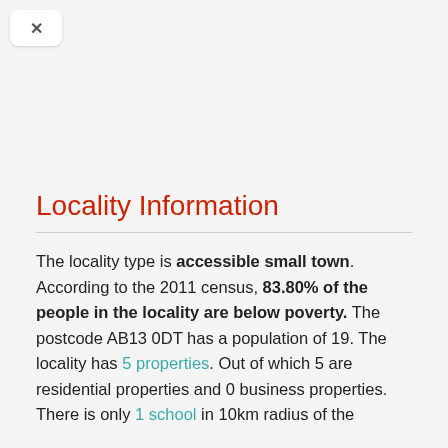[Figure (other): Close button (X) in top-left corner]
Locality Information
The locality type is accessible small town. According to the 2011 census, 83.80% of the people in the locality are below poverty. The postcode AB13 0DT has a population of 19. The locality has 5 properties. Out of which 5 are residential properties and 0 business properties. There is only 1 school in 10km radius of the